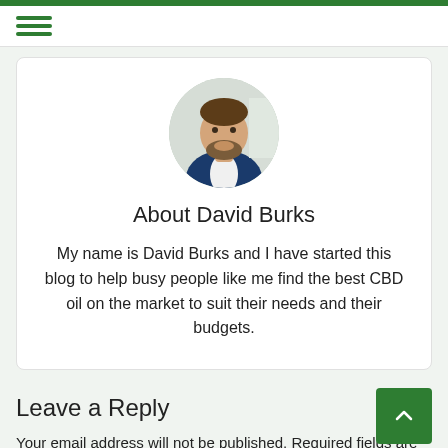[Figure (photo): Circular avatar photo of a man in a dark blue suit with a beard, smiling, against a light background]
About David Burks
My name is David Burks and I have started this blog to help busy people like me find the best CBD oil on the market to suit their needs and their budgets.
Leave a Reply
Your email address will not be published. Required fields are marked *